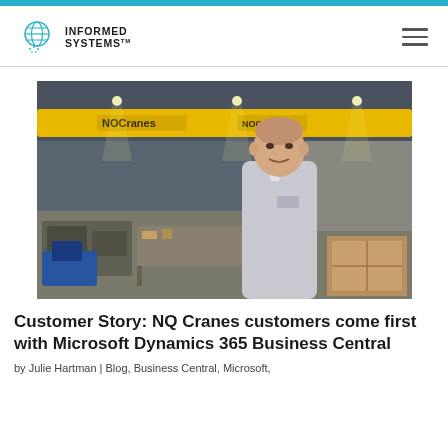Informed Systems
[Figure (photo): A man in a light grey button-up shirt stands in an industrial warehouse with yellow overhead cranes labeled 'NOCranes' in the background. The warehouse contains machinery and equipment on the floor.]
Customer Story: NQ Cranes customers come first with Microsoft Dynamics 365 Business Central
by Julie Hartman | Blog, Business Central, Microsoft,